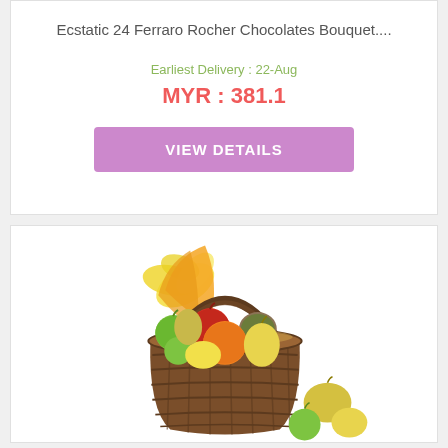Ecstatic 24 Ferraro Rocher Chocolates Bouquet....
Earliest Delivery : 22-Aug
MYR : 381.1
VIEW DETAILS
[Figure (photo): A wicker basket filled with assorted fresh fruits including green apples, orange, red apple, kiwi, pear, and yellow lemon/melon, with yellow decorative flowers/ribbons behind. Some fruits are spilling out in front of the basket.]